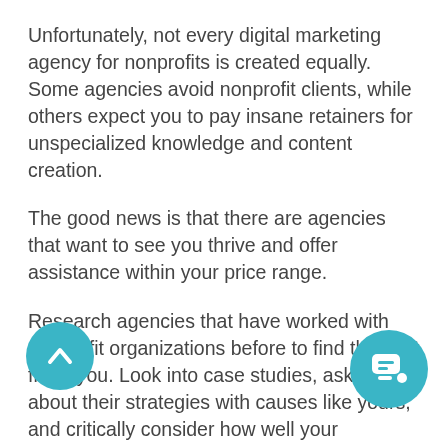Unfortunately, not every digital marketing agency for nonprofits is created equally. Some agencies avoid nonprofit clients, while others expect you to pay insane retainers for unspecialized knowledge and content creation.
The good news is that there are agencies that want to see you thrive and offer assistance within your price range.
Research agencies that have worked with nonprofit organizations before to find the best fit for you. Look into case studies, ask them about their strategies with causes like yours, and critically consider how well your intentions align with their offerings.
Tips for selecting a digital marketing agency for nonprofits:
✓ Set a realistic budget and keep an open mind when discussing your ideas with an agency.